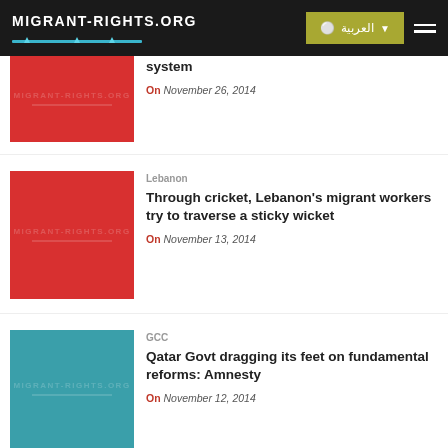MIGRANT-RIGHTS.ORG
[Figure (screenshot): Website navigation header with Migrant-Rights.org logo, Arabic language button, and hamburger menu]
[Figure (photo): Red background thumbnail image with Migrant-Rights.org watermark]
system
On November 26, 2014
[Figure (photo): Red background thumbnail image with Migrant-Rights.org watermark]
Lebanon
Through cricket, Lebanon's migrant workers try to traverse a sticky wicket
On November 13, 2014
[Figure (photo): Teal background thumbnail image with Migrant-Rights.org watermark]
GCC
Qatar Govt dragging its feet on fundamental reforms: Amnesty
On November 12, 2014